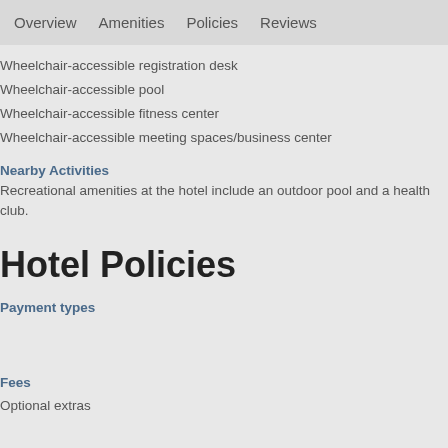Overview  Amenities  Policies  Reviews
Wheelchair-accessible registration desk
Wheelchair-accessible pool
Wheelchair-accessible fitness center
Wheelchair-accessible meeting spaces/business center
Nearby Activities
Recreational amenities at the hotel include an outdoor pool and a health club.
Hotel Policies
Payment types
Fees
Optional extras